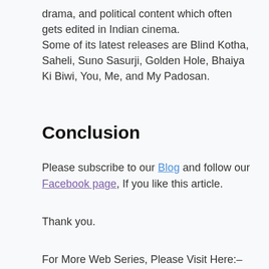drama, and political content which often gets edited in Indian cinema. Some of its latest releases are Blind Kotha, Saheli, Suno Sasurji, Golden Hole, Bhaiya Ki Biwi, You, Me, and My Padosan.
Conclusion
Please subscribe to our Blog and follow our Facebook page, If you like this article.
Thank you.
For More Web Series, Please Visit Here:– Web Series